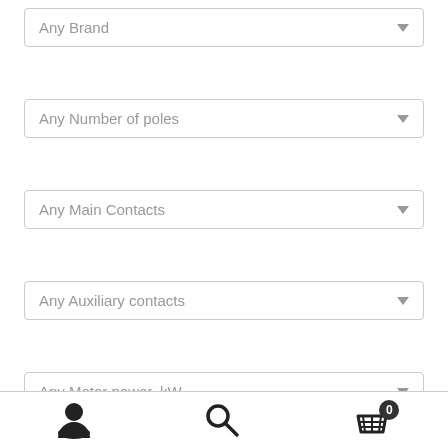Any Brand
Any Number of poles
Any Main Contacts
Any Auxiliary contacts
Any Motor power, kW
Navigation bar with user, search, and cart (0) icons